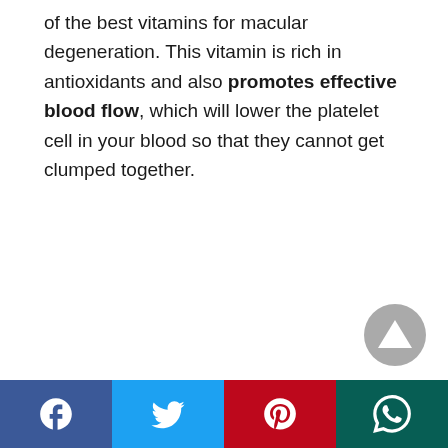of the best vitamins for macular degeneration. This vitamin is rich in antioxidants and also promotes effective blood flow, which will lower the platelet cell in your blood so that they cannot get clumped together.
[Figure (other): Grey circular scroll-to-top button with upward triangle arrow]
Social share bar with Facebook, Twitter, Pinterest, and WhatsApp icons